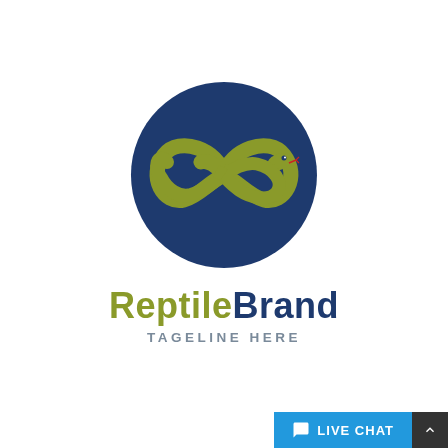[Figure (logo): Reptile Brand logo: dark navy blue circle containing a snake coiled in an infinity/figure-8 shape in olive/yellow-green color, with the snake head visible on the right side. Below the circle, bold text reads 'ReptileBrand' with 'Reptile' in olive green and 'Brand' in dark navy blue. Below that, 'TAGELINE HERE' in spaced gray uppercase letters.]
LIVE CHAT